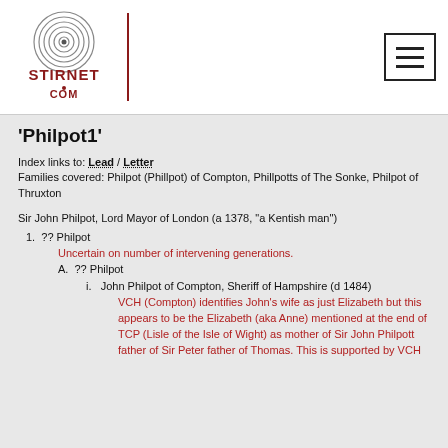STIRNET.COM
'Philpot1'
Index links to: Lead / Letter
Families covered: Philpot (Phillpot) of Compton, Phillpotts of The Sonke, Philpot of Thruxton
Sir John Philpot, Lord Mayor of London (a 1378, "a Kentish man")
1.  ?? Philpot
Uncertain on number of intervening generations.
A.  ?? Philpot
i.  John Philpot of Compton, Sheriff of Hampshire (d 1484)
VCH (Compton) identifies John's wife as just Elizabeth but this appears to be the Elizabeth (aka Anne) mentioned at the end of TCP (Lisle of the Isle of Wight) as mother of Sir John Philpott father of Sir Peter father of Thomas. This is supported by VCH